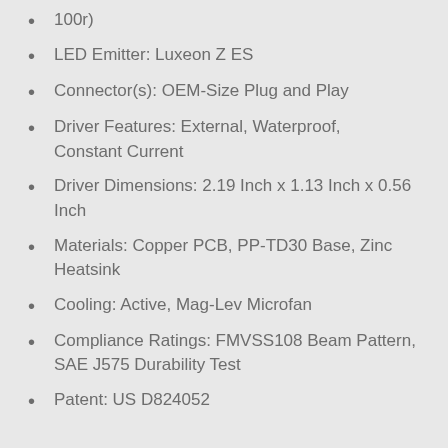100r)
LED Emitter: Luxeon Z ES
Connector(s): OEM-Size Plug and Play
Driver Features: External, Waterproof, Constant Current
Driver Dimensions: 2.19 Inch x 1.13 Inch x 0.56 Inch
Materials: Copper PCB, PP-TD30 Base, Zinc Heatsink
Cooling: Active, Mag-Lev Microfan
Compliance Ratings: FMVSS108 Beam Pattern, SAE J575 Durability Test
Patent: US D824052